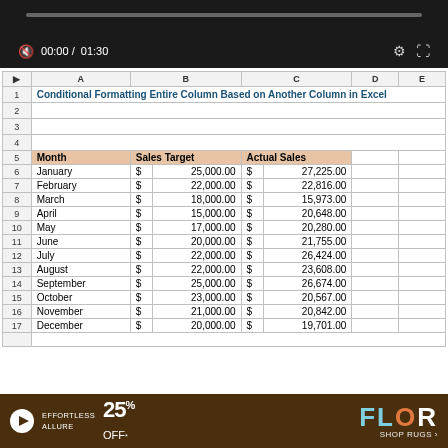[Figure (screenshot): Video player bar showing progress track and controls: speaker/mute icon, timestamp 00:00 / 01:30, settings gear icon, and fullscreen expand icon on dark background.]
|  | A | B |  | C |  | D | E |
| --- | --- | --- | --- | --- | --- | --- | --- |
| 1 | Conditional Formatting Entire Column Based on Another Column in Excel |  |  |  |  |  |  |
| 2 |  |  |  |  |  |  |  |
| 3 |  |  |  |  |  |  |  |
| 4 |  |  |  |  |  |  |  |
| 5 | Month | Sales Target |  | Actual Sales |  |  |  |
| 6 | January | $ | 25,000.00 | $ | 27,225.00 |  |  |
| 7 | February | $ | 22,000.00 | $ | 22,816.00 |  |  |
| 8 | March | $ | 18,000.00 | $ | 15,973.00 |  |  |
| 9 | April | $ | 15,000.00 | $ | 20,648.00 |  |  |
| 10 | May | $ | 17,000.00 | $ | 20,280.00 |  |  |
| 11 | June | $ | 20,000.00 | $ | 21,755.00 |  |  |
| 12 | July | $ | 22,000.00 | $ | 26,424.00 |  |  |
| 13 | August | $ | 22,000.00 | $ | 23,608.00 |  |  |
| 14 | September | $ | 25,000.00 | $ | 26,674.00 |  |  |
| 15 | October | $ | 23,000.00 | $ | 20,567.00 |  |  |
| 16 | November | $ | 21,000.00 | $ | 20,842.00 |  |  |
| 17 | December | $ | 20,000.00 | $ | 19,701.00 |  |  |
[Figure (screenshot): Advertisement banner for FLOR rugs showing 25% OFF promotion on dark brown background.]